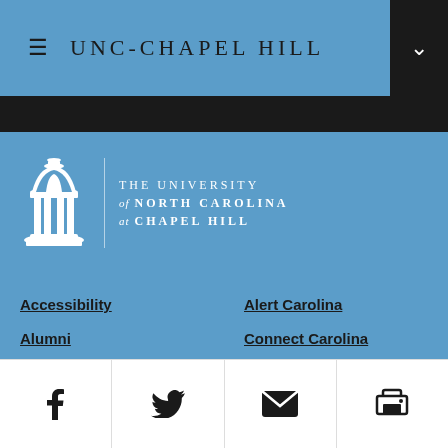UNC-CHAPEL HILL
[Figure (logo): UNC Old Well logo with text: THE UNIVERSITY of NORTH CAROLINA at CHAPEL HILL]
Accessibility
Alert Carolina
Alumni
Connect Carolina
Campus Map
Contact Us
[Figure (infographic): Social sharing bar with Facebook, Twitter, email, and print icons]